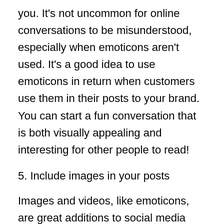you. It's not uncommon for online conversations to be misunderstood, especially when emoticons aren't used. It's a good idea to use emoticons in return when customers use them in their posts to your brand. You can start a fun conversation that is both visually appealing and interesting for other people to read!
5. Include images in your posts
Images and videos, like emoticons, are great additions to social media posts and marketing content in general. These not only help to make a more appealing post that users will want to read, but they also help those with different browsing styles who might otherwise miss important text.